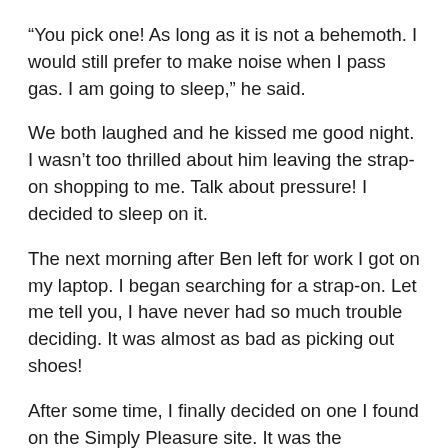“You pick one! As long as it is not a behemoth. I would still prefer to make noise when I pass gas. I am going to sleep,” he said.
We both laughed and he kissed me good night. I wasn’t too thrilled about him leaving the strap-on shopping to me. Talk about pressure! I decided to sleep on it.
The next morning after Ben left for work I got on my laptop. I began searching for a strap-on. Let me tell you, I have never had so much trouble deciding. It was almost as bad as picking out shoes!
After some time, I finally decided on one I found on the Simply Pleasure site. It was the Nasstoys Real Flesh 6 inch dildo with strap-on. It cost near $70 once you added shipping and handling.
The only thing that concerned me about it was its realistic appearance. I mean it looked like a real dick. It